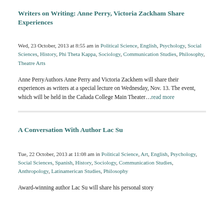Writers on Writing: Anne Perry, Victoria Zackham Share Experiences
Wed, 23 October, 2013 at 8:55 am in Political Science, English, Psychology, Social Sciences, History, Phi Theta Kappa, Sociology, Communication Studies, Philosophy, Theatre Arts
Anne PerryAuthors Anne Perry and Victoria Zackhem will share their experiences as writers at a special lecture on Wednesday, Nov. 13. The event, which will be held in the Cañada College Main Theater...read more
A Conversation With Author Lac Su
Tue, 22 October, 2013 at 11:08 am in Political Science, Art, English, Psychology, Social Sciences, Spanish, History, Sociology, Communication Studies, Anthropology, Latinamerican Studies, Philosophy
Award-winning author Lac Su will share his personal story